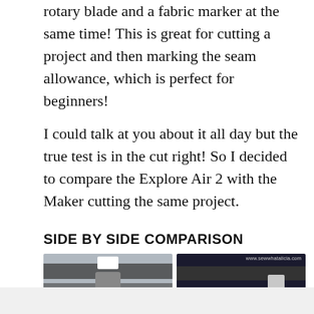rotary blade and a fabric marker at the same time! This is great for cutting a project and then marking the seam allowance, which is perfect for beginners!
I could talk at you about it all day but the true test is in the cut right! So I decided to compare the Explore Air 2 with the Maker cutting the same project.
SIDE BY SIDE COMPARISON
[Figure (photo): Side by side photo comparison of two Cricut cutting machines — the Explore Air 2 (left, lighter grey) and the Maker (right, darker/black). Both shown from front with cutting carriage visible. Watermark reads www.sewwhatalicia.com]